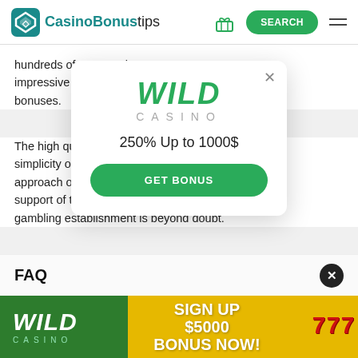[Figure (screenshot): CasinoBonustips website header with logo, gift icon, green SEARCH button, and hamburger menu]
hundreds of games wi... s, an impressive return on f... ne bonuses.
The high quality of Mi... ne simplicity of the interf... nal approach of the mana... support of the institu... s gambling establishment is beyond doubt.
[Figure (screenshot): Wild Casino popup overlay showing WILD CASINO logo, '250% Up to 1000$' offer text, and green GET BONUS button with X close button]
FAQ
[Figure (infographic): Wild Casino bottom banner ad: green left side with WILD CASINO logo, yellow right side with SIGN UP $5000 BONUS NOW! text and slot machine 777 imagery]